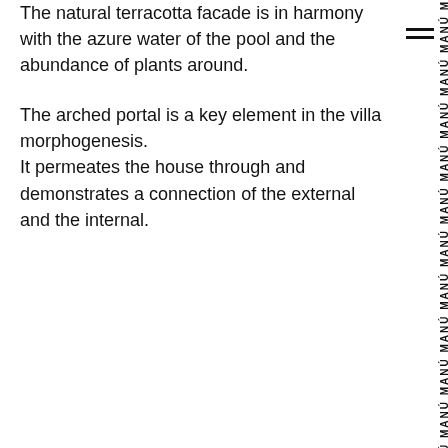The natural terracotta facade is in harmony with the azure water of the pool and the abundance of plants around.
The arched portal is a key element in the villa morphogenesis.
It permeates the house through and demonstrates a connection of the external and the internal.
[Figure (other): Hamburger menu icon (two horizontal lines) and vertical repeating text 'MANÚ' running down the right side of the page]